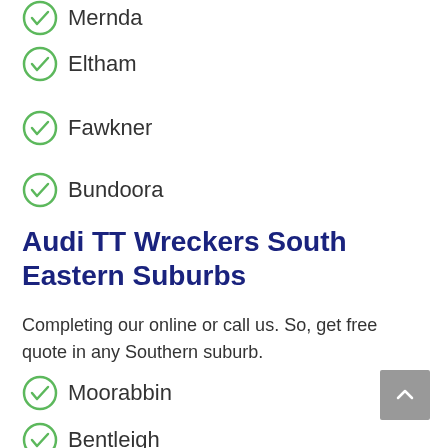Mernda
Eltham
Fawkner
Bundoora
Audi TT Wreckers South Eastern Suburbs
Completing our online or call us. So, get free quote in any Southern suburb.
Moorabbin
Bentleigh
Rosebud
Cheltenham